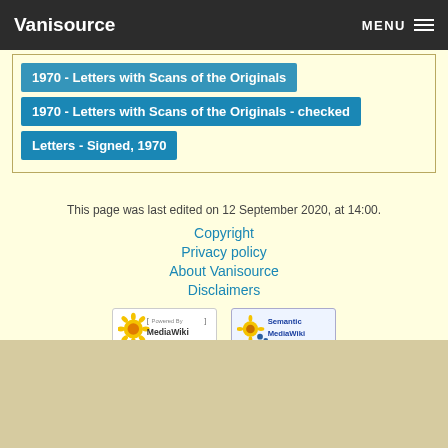Vanisource — MENU
1970 - Letters with Scans of the Originals
1970 - Letters with Scans of the Originals - checked
Letters - Signed, 1970
This page was last edited on 12 September 2020, at 14:00.
Copyright
Privacy policy
About Vanisource
Disclaimers